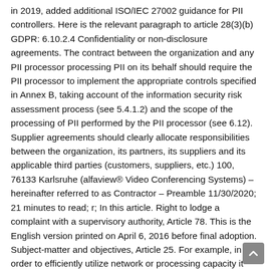in 2019, added additional ISO/IEC 27002 guidance for PII controllers. Here is the relevant paragraph to article 28(3)(b) GDPR: 6.10.2.4 Confidentiality or non-disclosure agreements. The contract between the organization and any PII processor processing PII on its behalf should require the PII processor to implement the appropriate controls specified in Annex B, taking account of the information security risk assessment process (see 5.4.1.2) and the scope of the processing of PII performed by the PII processor (see 6.12). Supplier agreements should clearly allocate responsibilities between the organization, its partners, its suppliers and its applicable third parties (customers, suppliers, etc.) 100, 76133 Karlsruhe (alfaview® Video Conferencing Systems) – hereinafter referred to as Contractor – Preamble 11/30/2020; 21 minutes to read; r; In this article. Right to lodge a complaint with a supervisory authority, Article 78. This is the English version printed on April 6, 2016 before final adoption. Subject-matter and objectives, Article 25. For example, in order to efficiently utilize network or processing capacity it can be necessary to allocate specific processing resources depending on certain